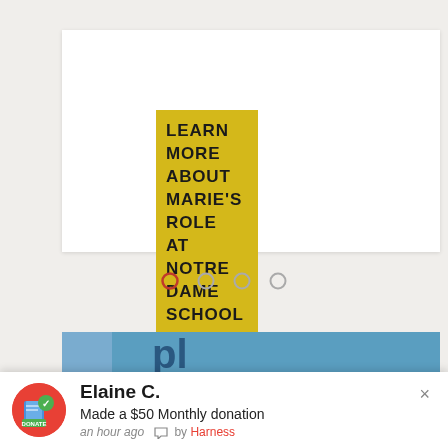LEARN MORE ABOUT MARIE'S ROLE AT NOTRE DAME SCHOOL
[Figure (other): Carousel navigation dots: one red outlined circle (active) and three grey outlined circles (inactive)]
[Figure (photo): Partial view of a blue sky photo with large blue letters visible]
Elaine C.
Made a $50 Monthly donation
an hour ago  by Harness